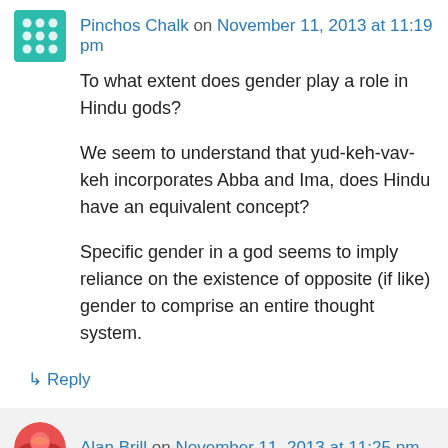Pinchos Chalk on November 11, 2013 at 11:19 pm
To what extent does gender play a role in Hindu gods?
We seem to understand that yud-keh-vav-keh incorporates Abba and Ima, does Hindu have an equivalent concept?
Specific gender in a god seems to imply reliance on the existence of opposite (if like) gender to comprise an entire thought system.
↳ Reply
Alan Brill on November 11, 2013 at 11:25 pm
For them, all opposites are in all gods;